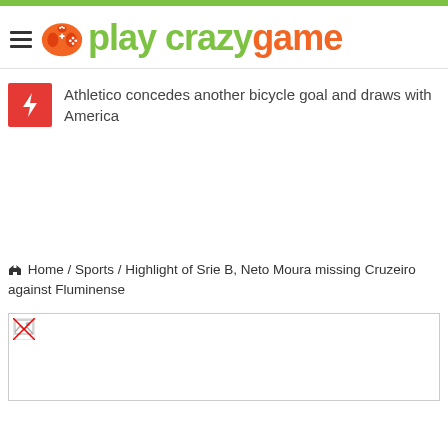play crazy game
Athletico concedes another bicycle goal and draws with America
Home / Sports / Highlight of Srie B, Neto Moura missing Cruzeiro against Fluminense
[Figure (photo): Broken image placeholder]